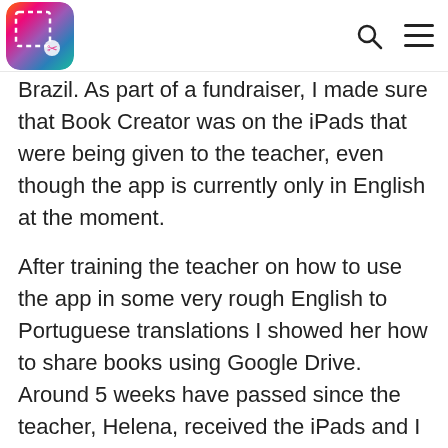[Book Creator logo] [Search icon] [Menu icon]
Brazil. As part of a fundraiser, I made sure that Book Creator was on the iPads that were being given to the teacher, even though the app is currently only in English at the moment.
After training the teacher on how to use the app in some very rough English to Portuguese translations I showed her how to share books using Google Drive. Around 5 weeks have passed since the teacher, Helena, received the iPads and I regularly receive incredible books from her and her students.
Did I mention that these kids have hearing